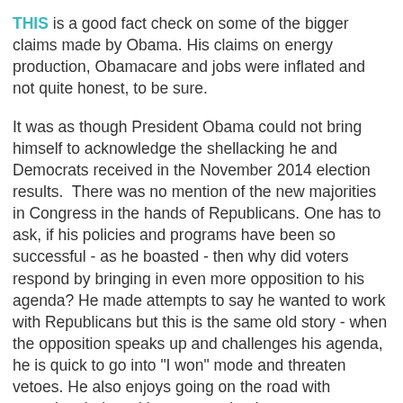THIS is a good fact check on some of the bigger claims made by Obama. His claims on energy production, Obamacare and jobs were inflated and not quite honest, to be sure.
It was as though President Obama could not bring himself to acknowledge the shellacking he and Democrats received in the November 2014 election results.  There was no mention of the new majorities in Congress in the hands of Republicans. One has to ask, if his policies and programs have been so successful - as he boasted - then why did voters respond by bringing in even more opposition to his agenda? He made attempts to say he wanted to work with Republicans but this is the same old story - when the opposition speaks up and challenges his agenda, he is quick to go into "I won" mode and threaten vetoes. He also enjoys going on the road with speeches laden with taunts and pokes to Republicans. His inflated ego does not allow him to not be blinded by raw ideology in his partisanship. Barack Obama has shown himself the most partisan, least mature president in my lifetime. He is simply not up to the job. He divides when he should unite.